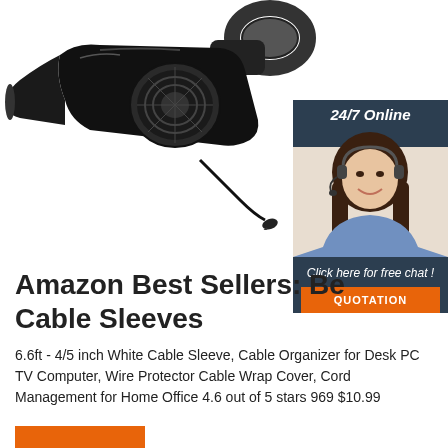[Figure (photo): Black handheld car vacuum cleaner with circular filter and cigarette lighter plug cord on white background]
[Figure (infographic): 24/7 Online chat widget showing a smiling woman with headset, dark blue background, 'Click here for free chat!' text, and orange QUOTATION button]
Amazon Best Sellers: Be... Cable Sleeves
6.6ft - 4/5 inch White Cable Sleeve, Cable Organizer for Desk PC TV Computer, Wire Protector Cable Wrap Cover, Cord Management for Home Office 4.6 out of 5 stars 969 $10.99
[Figure (other): Orange button/bar at bottom left]